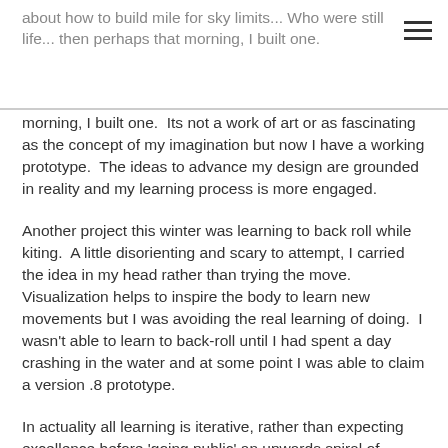about how to build mile for sky limits...  Who were still life...then perhaps that morning, I built one.
morning, I built one.  Its not a work of art or as fascinating as the concept of my imagination but now I have a working prototype.  The ideas to advance my design are grounded in reality and my learning process is more engaged.
Another project this winter was learning to back roll while kiting.  A little disorienting and scary to attempt, I carried the idea in my head rather than trying the move.  Visualization helps to inspire the body to learn new movements but I was avoiding the real learning of doing.  I wasn't able to learn to back-roll until I had spent a day crashing in the water and at some point I was able to claim a version .8 prototype.
In actuality all learning is iterative, rather than expecting excellence before 'going public' an upwards spiral of